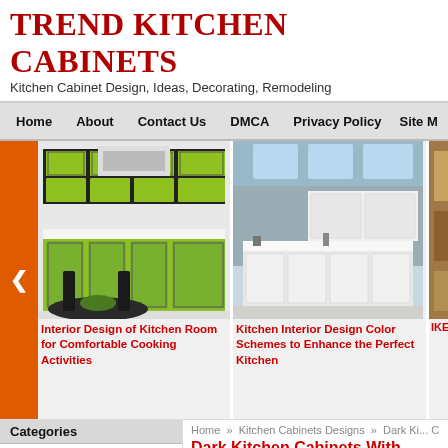TREND KITCHEN CABINETS
Kitchen Cabinet Design, Ideas, Decorating, Remodeling
Home | About | Contact Us | DMCA | Privacy Policy | Site M
[Figure (photo): Slideshow of kitchen images: green kitchen cabinets, white modern kitchen, partially visible third kitchen]
Interior Design of Kitchen Room for Comfortable Cooking Activities
Kitchen Interior Design Color Schemes to Enhance the Perfect Kitchen
IKEA Ki... UK for S...
Categories
» Decorating
» Glass Cabinets
» How To
» IKEA Kitchen Cabinets
» Kitchen Cabinet Door
» Kitchen Cabinet Hardware
Home » Kitchen Cabinets Designs » Dark Ki... Customization
Dark Kitchen Cabinets With
Thursday, February 6th 2014. | Kitchen Cabinets
Tweet   Save